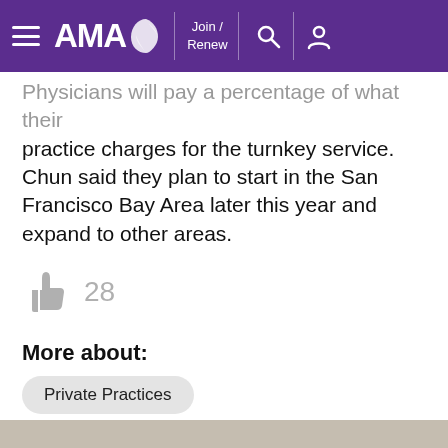AMA — Join / Renew
Physicians will pay a percentage of what their practice charges for the turnkey service. Chun said they plan to start in the San Francisco Bay Area later this year and expand to other areas.
[Figure (other): Thumbs up like icon with count of 28]
More about:
Private Practices
Health2047